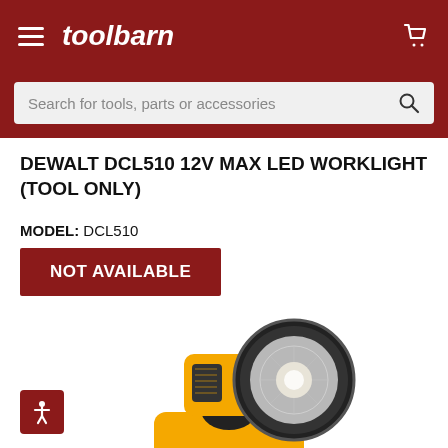toolbarn
Search for tools, parts or accessories
DEWALT DCL510 12V MAX LED WORKLIGHT (TOOL ONLY)
MODEL: DCL510
NOT AVAILABLE
[Figure (photo): DEWALT DCL510 12V MAX LED Worklight — yellow and black flashlight/worklight with pivoting head, showing the LED lens face-on, photographed on white background.]